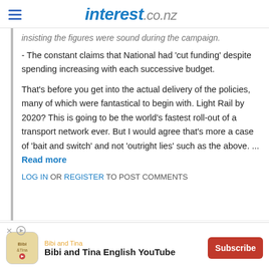interest.co.nz
insisting the figures were sound during the campaign.
- The constant claims that National had 'cut funding' despite spending increasing with each successive budget.
That's before you get into the actual delivery of the policies, many of which were fantastical to begin with. Light Rail by 2020? This is going to be the world's fastest roll-out of a transport network ever. But I would agree that's more a case of 'bait and switch' and not 'outright lies' such as the above. ... Read more
LOG IN OR REGISTER TO POST COMMENTS
by RickStrauss | 16th Dec 19, 11:06am
[Figure (other): Advertisement banner for Bibi and Tina English YouTube with Subscribe button]